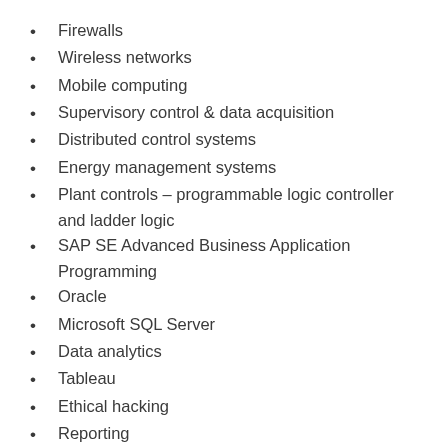Firewalls
Wireless networks
Mobile computing
Supervisory control & data acquisition
Distributed control systems
Energy management systems
Plant controls – programmable logic controller and ladder logic
SAP SE Advanced Business Application Programming
Oracle
Microsoft SQL Server
Data analytics
Tableau
Ethical hacking
Reporting
C++
Java programming
If you are ambitious, progressive and adaptive to the